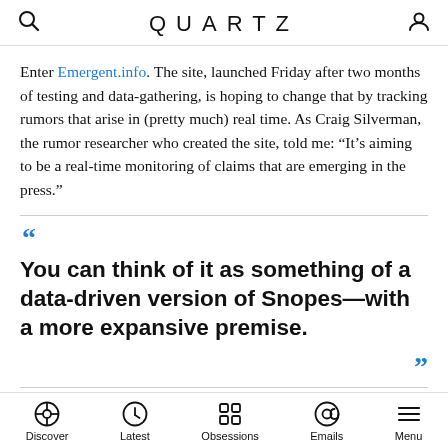QUARTZ
Enter Emergent.info. The site, launched Friday after two months of testing and data-gathering, is hoping to change that by tracking rumors that arise in (pretty much) real time. As Craig Silverman, the rumor researcher who created the site, told me: “It’s aiming to be a real-time monitoring of claims that are emerging in the press.”
You can think of it as something of a data-driven version of Snopes—with a more expansive premise.
Discover | Latest | Obsessions | Emails | Menu